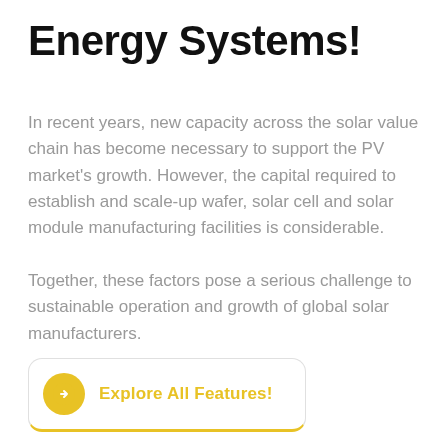Energy Systems!
In recent years, new capacity across the solar value chain has become necessary to support the PV market's growth. However, the capital required to establish and scale-up wafer, solar cell and solar module manufacturing facilities is considerable.
Together, these factors pose a serious challenge to sustainable operation and growth of global solar manufacturers.
Explore All Features!